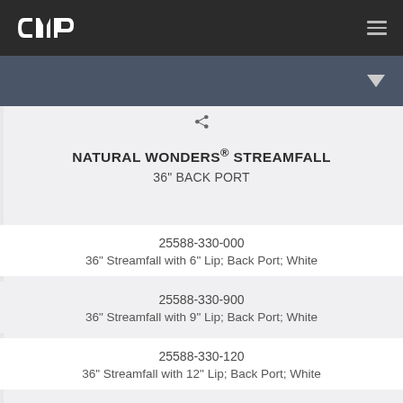CMP
NATURAL WONDERS® STREAMFALL
36" BACK PORT
25588-330-000
36" Streamfall with 6" Lip; Back Port; White
25588-330-900
36" Streamfall with 9" Lip; Back Port; White
25588-330-120
36" Streamfall with 12" Lip; Back Port; White